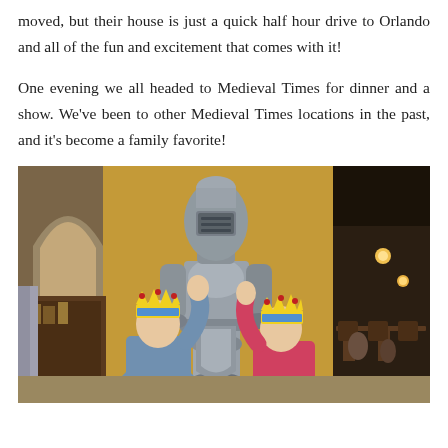moved, but their house is just a quick half hour drive to Orlando and all of the fun and excitement that comes with it!
One evening we all headed to Medieval Times for dinner and a show. We've been to other Medieval Times locations in the past, and it's become a family favorite!
[Figure (photo): Two children wearing Medieval Times crown hats posing with fists raised in front of a full-size suit of armor display inside a Medieval Times restaurant. The interior features stone arches, yellow/ochre walls, warm lighting, and restaurant seating visible in the background.]